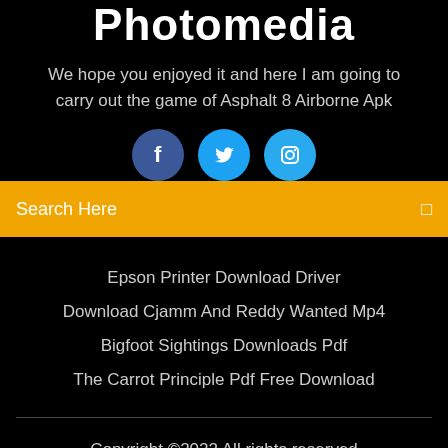Photomedia
We hope you enjoyed it and here I am going to carry out the game of Asphalt 8 Airborne Apk
[Figure (illustration): Three social media icons: Facebook (dark blue circle), Twitter (blue circle), Instagram (light blue circle)]
Search Here
Epson Printer Download Driver
Download Cjamm And Reddy Wanted Mp4
Bigfoot Sightings Downloads Pdf
The Carrot Principle Pdf Free Download
Copyright ©2022 All rights reserved